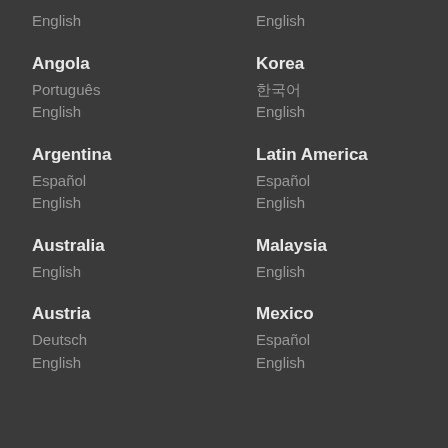English
English
Angola
Português
English
Korea
한국어
English
Argentina
Español
English
Latin America
Español
English
Australia
English
Malaysia
English
Austria
Deutsch
English
Mexico
Español
English